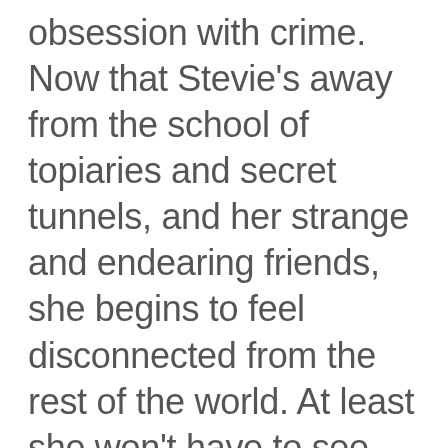obsession with crime. Now that Stevie's away from the school of topiaries and secret tunnels, and her strange and endearing friends, she begins to feel disconnected from the rest of the world. At least she won't have to see David anymore. David, who she kissed. David, who lied to her about his identity—son of despised politician Edward King. Then King himself arrives at her house to offer a deal: He will bring